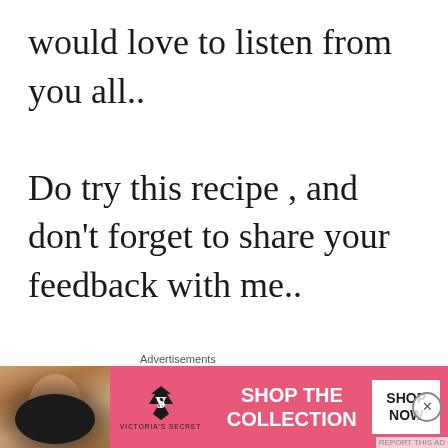would love to listen from you all..

Do try this recipe , and don't forget to share your feedback with me..

Kindly rate the recipe and give
[Figure (other): Advertisement banner for Victoria's Secret showing a model with curly hair, VS logo, 'SHOP THE COLLECTION' text, and 'SHOP NOW' button on a pink background]